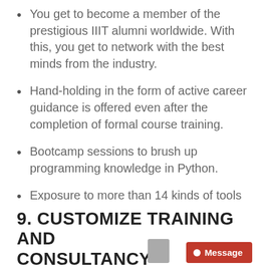You get to become a member of the prestigious IIIT alumni worldwide. With this, you get to network with the best minds from the industry.
Hand-holding in the form of active career guidance is offered even after the completion of formal course training.
Bootcamp sessions to brush up programming knowledge in Python.
Exposure to more than 14 kinds of tools and software languages are offered to trainees.
With a certificate from IIIT, companies will seek you out for various roles and responsibilities.
9. CUSTOMIZE TRAINING AND CONSULTANCY